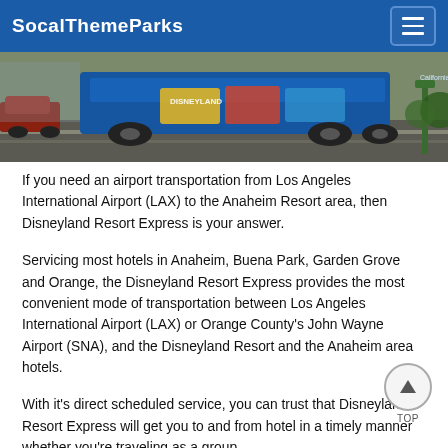SocalThemeParks
[Figure (photo): Street scene with a blue Disneyland Resort Express bus with Disney character graphics, cars visible, outdoor daytime.]
If you need an airport transportation from Los Angeles International Airport (LAX) to the Anaheim Resort area, then Disneyland Resort Express is your answer.
Servicing most hotels in Anaheim, Buena Park, Garden Grove and Orange, the Disneyland Resort Express provides the most convenient mode of transportation between Los Angeles International Airport (LAX) or Orange County's John Wayne Airport (SNA), and the Disneyland Resort and the Anaheim area hotels.
With it's direct scheduled service, you can trust that Disneyland Resort Express will get you to and from hotel in a timely manner whether you're traveling as a group...